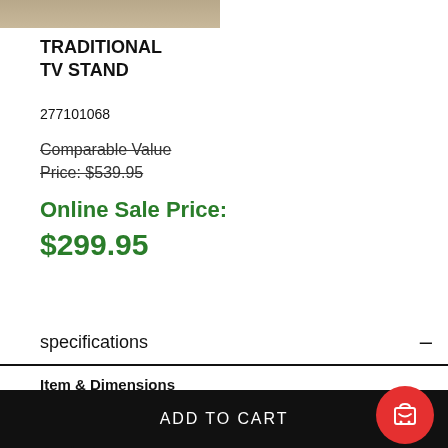[Figure (photo): Partial top edge of a Traditional TV Stand product photo]
TRADITIONAL TV STAND
277101068
Comparable Value Price: $539.95
Online Sale Price:
$299.95
specifications
Item & Dimensions
|  |  |
| --- | --- |
| Manufacturer | Signature Design by Ashley |
Product
ADD TO CART